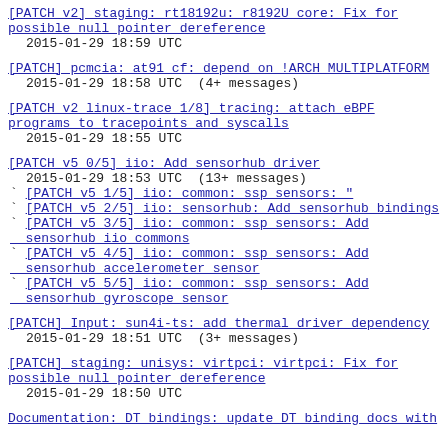[PATCH v2] staging: rt18192u: r8192U core: Fix for possible null pointer dereference
2015-01-29 18:59 UTC
[PATCH] pcmcia: at91 cf: depend on !ARCH MULTIPLATFORM
2015-01-29 18:58 UTC  (4+ messages)
[PATCH v2 linux-trace 1/8] tracing: attach eBPF programs to tracepoints and syscalls
2015-01-29 18:55 UTC
[PATCH v5 0/5] iio: Add sensorhub driver
2015-01-29 18:53 UTC  (13+ messages)
` [PATCH v5 1/5] iio: common: ssp sensors: "
` [PATCH v5 2/5] iio: sensorhub: Add sensorhub bindings
` [PATCH v5 3/5] iio: common: ssp sensors: Add sensorhub iio commons
` [PATCH v5 4/5] iio: common: ssp sensors: Add sensorhub accelerometer sensor
` [PATCH v5 5/5] iio: common: ssp sensors: Add sensorhub gyroscope sensor
[PATCH] Input: sun4i-ts: add thermal driver dependency
2015-01-29 18:51 UTC  (3+ messages)
[PATCH] staging: unisys: virtpci: virtpci: Fix for possible null pointer dereference
2015-01-29 18:50 UTC
Documentation: DT bindings: update DT binding docs with